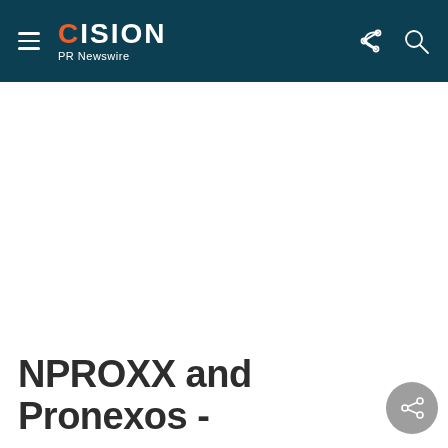CISION PR Newswire
NPROXX and Pronexos -